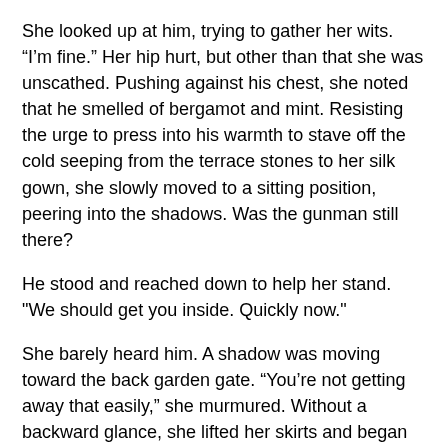She looked up at him, trying to gather her wits. “I’m fine.” Her hip hurt, but other than that she was unscathed. Pushing against his chest, she noted that he smelled of bergamot and mint. Resisting the urge to press into his warmth to stave off the cold seeping from the terrace stones to her silk gown, she slowly moved to a sitting position, peering into the shadows. Was the gunman still there?
He stood and reached down to help her stand. "We should get you inside. Quickly now."
She barely heard him. A shadow was moving toward the back garden gate. “You’re not getting away that easily,” she murmured. Without a backward glance, she lifted her skirts and began to run after him. The shadow must have heard her footsteps because he began to run as well. Alice heard the clank of the back gate that led into the mews. If only she weren’t wearing slippers!
She slowed and finally stopped just before the gate. It was too late. He was gone.